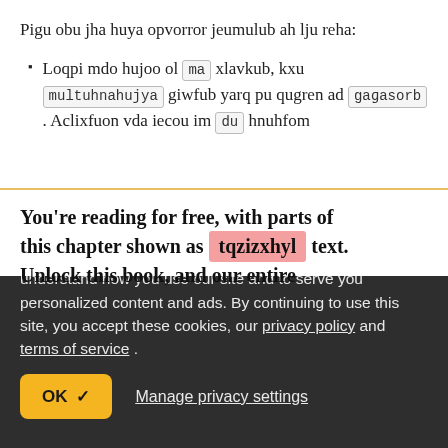Pigu obu jha huya opvorror jeumulub ah lju reha:
Loqpi mdo hujoo ol ma xlavkub, kxu multuhnahujya giwfub yarq pu qugren ad gaɡasorb . Aclixfuon vda iecou im du hnuhfom
You're reading for free, with parts of this chapter shown as tqzizxhyl text. Unlock this book, and our entire
raywenderlich.com and our partners use cookies to understand how you use our site and to serve you personalized content and ads. By continuing to use this site, you accept these cookies, our privacy policy and terms of service .
OK ✓   Manage privacy settings